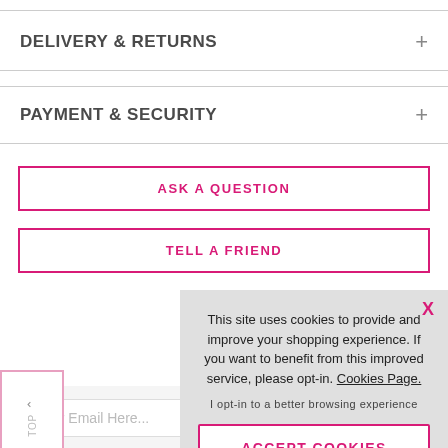DELIVERY & RETURNS
PAYMENT & SECURITY
ASK A QUESTION
TELL A FRIEND
This site uses cookies to provide and improve your shopping experience. If you want to benefit from this improved service, please opt-in. Cookies Page.
I opt-in to a better browsing experience
ACCEPT COOKIES
Enter Email Here...